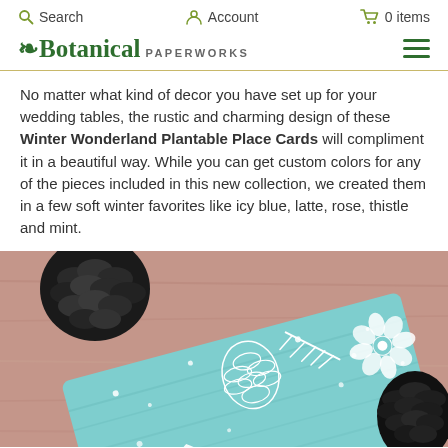Search   Account   0 items
❧Botanical PAPERWORKS
No matter what kind of decor you have set up for your wedding tables, the rustic and charming design of these Winter Wonderland Plantable Place Cards will compliment it in a beautiful way. While you can get custom colors for any of the pieces included in this new collection, we created them in a few soft winter favorites like icy blue, latte, rose, thistle and mint.
[Figure (photo): Close-up photo of a teal/mint colored plantable place card with white winter botanical designs (pine cone, flowers, snowflakes) resting next to a pine cone on a wooden surface. Partially visible cursive text on the card.]